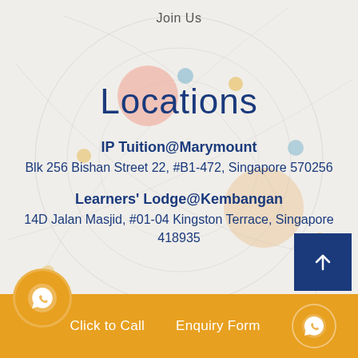Join Us
Locations
IP Tuition@Marymount
Blk 256 Bishan Street 22, #B1-472, Singapore 570256
Learners' Lodge@Kembangan
14D Jalan Masjid, #01-04 Kingston Terrace, Singapore 418935
Click to Call   Enquiry Form